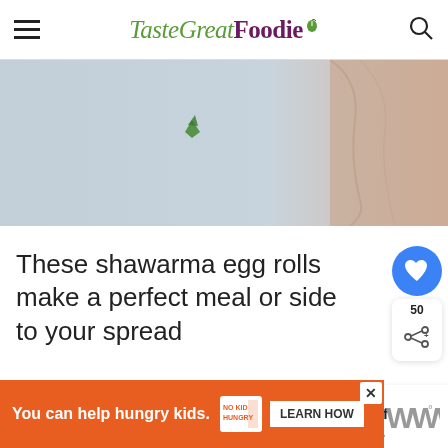TasteGreat Foodie
[Figure (photo): Close-up photo of a flat surface with a small green herb/parsley leaf, next to what appears to be a rolled food item or skin texture on the right side. Background is light gray-blue transitioning to peach/tan.]
These shawarma egg rolls make a perfect meal or side to your spread
[Figure (infographic): Blue circular heart/like button with 50 count, and a white share button with share icon below it]
[Figure (infographic): What's Next panel showing a thumbnail of Loaded Beef Shawarma with text 'WHAT'S NEXT → Loaded Beef Shawarma...']
[Figure (infographic): Orange advertisement banner reading 'You can help hungry kids.' with No Kid Hungry logo and 'LEARN HOW' button]